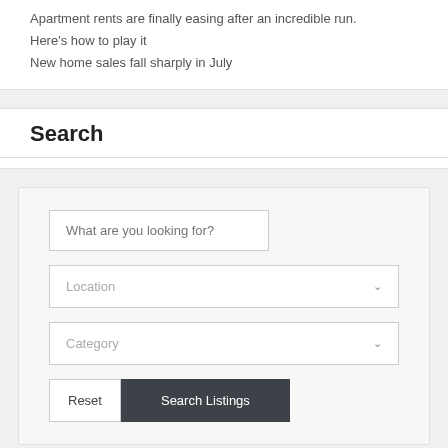Apartment rents are finally easing after an incredible run.
Here's how to play it
New home sales fall sharply in July
Search
[Figure (screenshot): Search form UI with a text input 'What are you looking for?', a Location dropdown, a Category dropdown, and Reset / Search Listings buttons.]